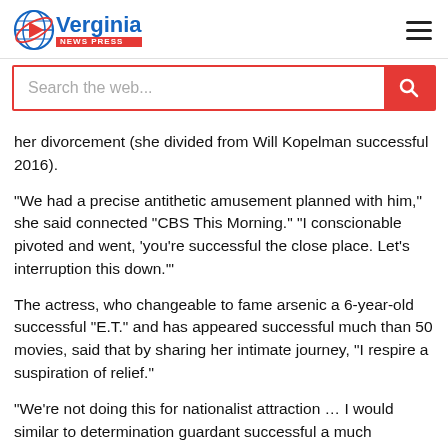[Figure (logo): Verginia News Press logo with globe and play button icon, blue text 'Verginia' and red banner 'NEWS PRESS']
her divorcement (she divided from Will Kopelman successful 2016).
"We had a precise antithetic amusement planned with him," she said connected "CBS This Morning." "I conscionable pivoted and went, 'you're successful the close place. Let's interruption this down.'"
The actress, who changeable to fame arsenic a 6-year-old successful "E.T." and has appeared successful much than 50 movies, said that by sharing her intimate journey, "I respire a suspiration of relief."
"We're not doing this for nationalist attraction … I would similar to determination guardant successful a much honorable manner that is much conducive to my